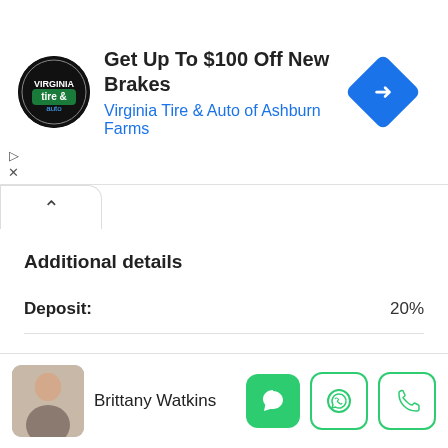[Figure (infographic): Ad banner: Virginia Tire & Auto logo (circular black badge), headline 'Get Up To $100 Off New Brakes', subtext 'Virginia Tire & Auto of Ashburn Farms', blue navigation diamond icon on right, play and X controls on left.]
Additional details
| Deposit: | 20% |
| Pool Size: | 300 Sqft |
Brittany Watkins